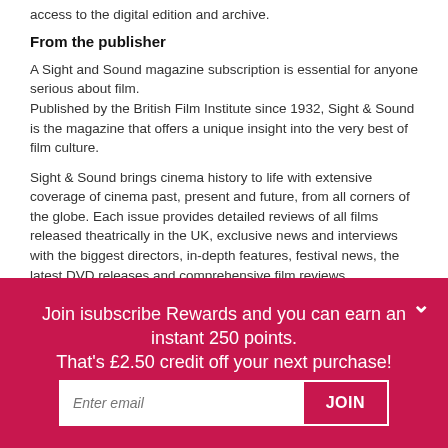access to the digital edition and archive.
From the publisher
A Sight and Sound magazine subscription is essential for anyone serious about film.
Published by the British Film Institute since 1932, Sight & Sound is the magazine that offers a unique insight into the very best of film culture.
Sight & Sound brings cinema history to life with extensive coverage of cinema past, present and future, from all corners of the globe. Each issue provides detailed reviews of all films released theatrically in the UK, exclusive news and interviews with the biggest directors, in-depth features, festival news, the latest DVD releases and comprehensive film reviews.
Sight and Sound magazine casts off the gossip and hype of the many film magazines in the market with writing from high literary and critical standards and Tony Rayns...
Join isubscribe Rewards and you can earn an instant 250 points.
That's £2.50 credit off your next purchase!